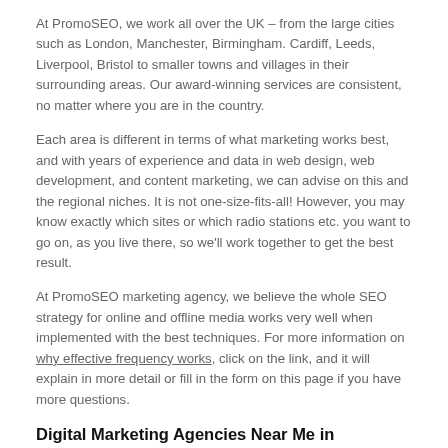At PromoSEO, we work all over the UK – from the large cities such as London, Manchester, Birmingham. Cardiff, Leeds, Liverpool, Bristol to smaller towns and villages in their surrounding areas. Our award-winning services are consistent, no matter where you are in the country.
Each area is different in terms of what marketing works best, and with years of experience and data in web design, web development, and content marketing, we can advise on this and the regional niches. It is not one-size-fits-all! However, you may know exactly which sites or which radio stations etc. you want to go on, as you live there, so we'll work together to get the best result.
At PromoSEO marketing agency, we believe the whole SEO strategy for online and offline media works very well when implemented with the best techniques. For more information on why effective frequency works, click on the link, and it will explain in more detail or fill in the form on this page if you have more questions.
Digital Marketing Agencies Near Me in Chesterton